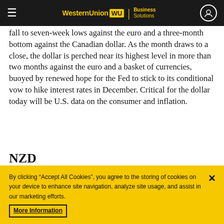WesternUnion WU | Business Solutions
fall to seven-week lows against the euro and a three-month bottom against the Canadian dollar. As the month draws to a close, the dollar is perched near its highest level in more than two months against the euro and a basket of currencies, buoyed by renewed hope for the Fed to stick to its conditional vow to hike interest rates in December. Critical for the dollar today will be U.S. data on the consumer and inflation.
NZD
Oh baby! The kiwi dollar jumped on expectations that
By clicking “Accept All Cookies”, you agree to the storing of cookies on your device to enhance site navigation, analyze site usage, and assist in our marketing efforts. More Information